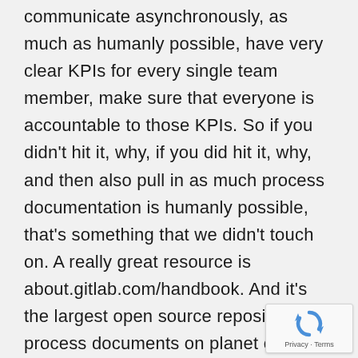communicate asynchronously, as much as humanly possible, have very clear KPIs for every single team member, make sure that everyone is accountable to those KPIs. So if you didn't hit it, why, if you did hit it, why, and then also pull in as much process documentation is humanly possible, that's something that we didn't touch on. A really great resource is about.gitlab.com/handbook. And it's the largest open source repository of process documents on planet earth as it applies to building and scaling a remote team, go check them out, everything that you do inside of the company should be documented. And then the actual company becomes the manager, not necessarily the managers themselves. That's an old school model, I almost kind of think about it is like, that's
[Figure (other): reCAPTCHA badge with spinning arrows logo and 'Privacy - Terms' text]